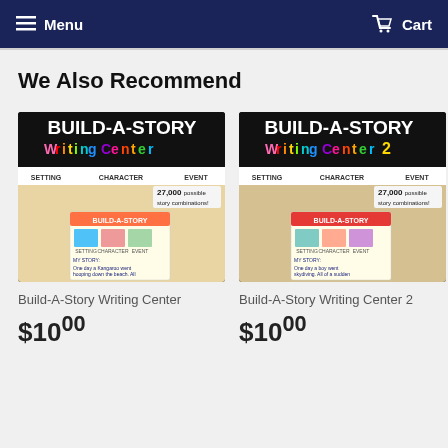Menu  Cart
We Also Recommend
[Figure (photo): Build-A-Story Writing Center product thumbnail showing colorful activity cards for Setting, Character, and Event with 27,000 possible story combinations]
Build-A-Story Writing Center
$10.00
[Figure (photo): Build-A-Story Writing Center 2 product thumbnail showing colorful activity cards for Setting, Character, and Event with 27,000 possible story combinations]
Build-A-Story Writing Center 2
$10.00